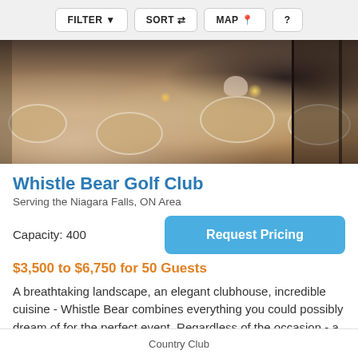FILTER  SORT  MAP  ?
[Figure (photo): Interior of Whistle Bear Golf Club banquet hall with round tables set for an event, chairs, floral centerpieces, and large windows in the background.]
Whistle Bear Golf Club
Serving the Niagara Falls, ON Area
Capacity: 400
Request Pricing
$3,500 to $6,750 for 50 Guests
A breathtaking landscape, an elegant clubhouse, incredible cuisine - Whistle Bear combines everything you could possibly dream of for the perfect event. Regardless of the occasion - a
Country Club